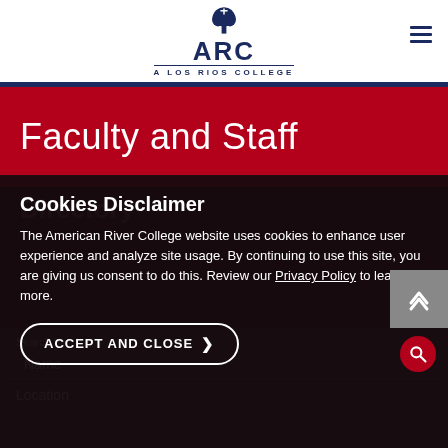[Figure (logo): ARC - A Los Rios College logo with tree icon]
Faculty and Staff
Directory
Cookies Disclaimer
The American River College website uses cookies to enhance user experience and analyze site usage. By continuing to use this site, you are giving us consent to do this. Review our Privacy Policy to learn more.
ACCEPT AND CLOSE
Search by
Name
Location